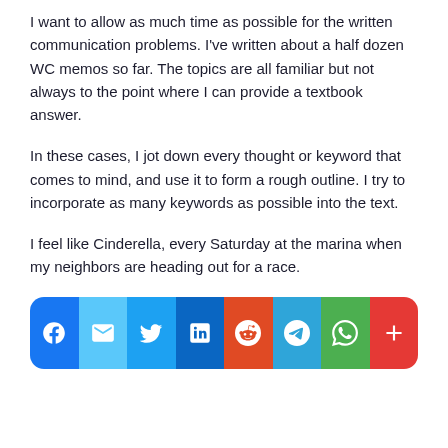I want to allow as much time as possible for the written communication problems. I've written about a half dozen WC memos so far. The topics are all familiar but not always to the point where I can provide a textbook answer.
In these cases, I jot down every thought or keyword that comes to mind, and use it to form a rough outline. I try to incorporate as many keywords as possible into the text.
I feel like Cinderella, every Saturday at the marina when my neighbors are heading out for a race.
[Figure (infographic): Social sharing bar with icons for Facebook, Email, Twitter, LinkedIn, Reddit, Telegram, WhatsApp, and More (plus sign)]